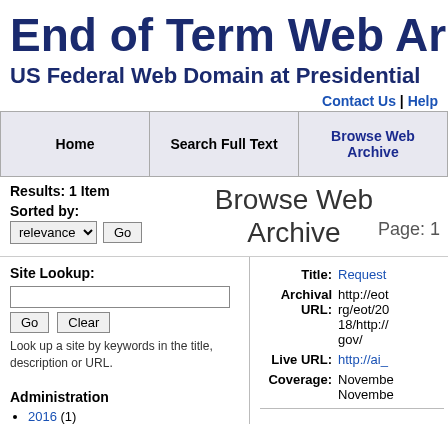End of Term Web Archive
US Federal Web Domain at Presidential
Contact Us | Help
| Home | Search Full Text | Browse Web Archive |
| --- | --- | --- |
Results: 1 Item
Browse Web Archive
Page: 1
Sorted by:
Site Lookup:
Look up a site by keywords in the title, description or URL.
Administration
2016 (1)
Title: Request...
Archival URL: http://eot...rg/eot/20...18/http://...gov/
Live URL: http://ai_...
Coverage: November... November...